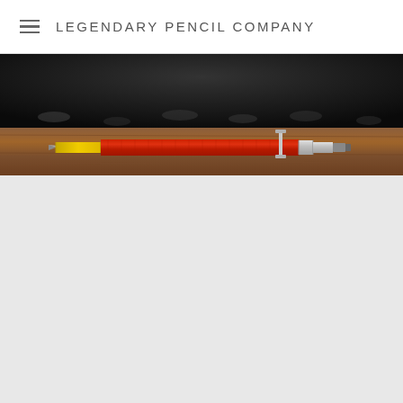LEGENDARY PENCIL COMPANY
[Figure (photo): Photo of a mechanical pencil with yellow tip, red textured body, silver clip and metal accents, resting on a wooden surface against a dark background with blurred pencils.]